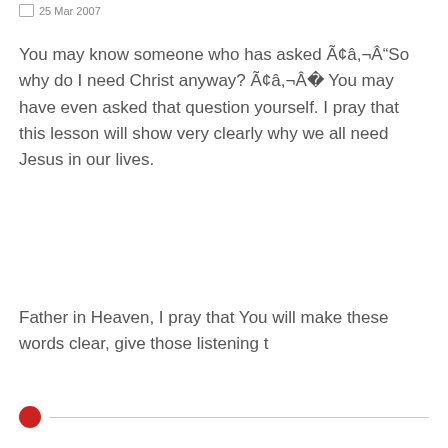25 Mar 2007
You may know someone who has asked Ã¢â,¬Â"So why do I need Christ anyway? Ã¢â,¬Â You may have even asked that question yourself. I pray that this lesson will show very clearly why we all need Jesus in our lives.
Father in Heaven, I pray that You will make these words clear, give those listening t
[Figure (other): Red dot with horizontal divider line]
[Figure (photo): Image placeholder (broken image icon)]
PEACE AND FREEDOMS FOR INDIAN WOMEN IN THE DIGITAL